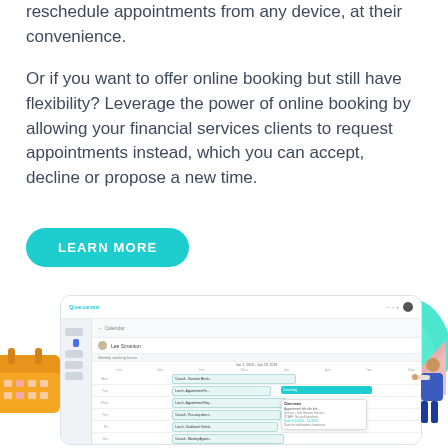reschedule appointments from any device, at their convenience.
Or if you want to offer online booking but still have flexibility? Leverage the power of online booking by allowing your financial services clients to request appointments instead, which you can accept, decline or propose a new time.
[Figure (screenshot): A screenshot of an online scheduling/calendar application (Queueim or similar) showing a weekly calendar view with appointment slots, user interface with sidebar navigation, time slots with events marked in teal and light colors, and an appointment detail popup.]